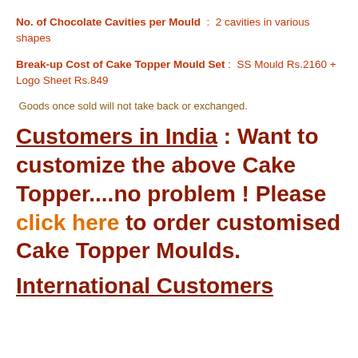No. of Chocolate Cavities per Mould : 2 cavities in various shapes
Break-up Cost of Cake Topper Mould Set : SS Mould Rs.2160 + Logo Sheet Rs.849
Goods once sold will not take back or exchanged.
Customers in India : Want to customize the above Cake Topper....no problem ! Please click here to order customised Cake Topper Moulds.
International Customers